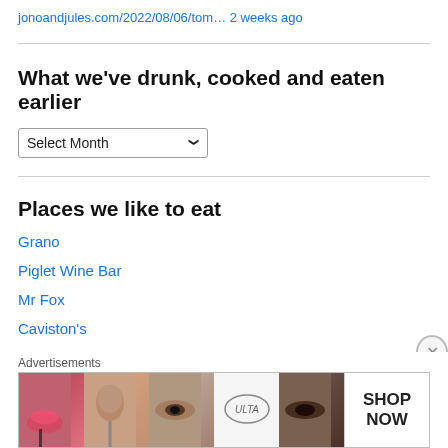jonoandjules.com/2022/08/06/tom… 2 weeks ago
What we've drunk, cooked and eaten earlier
Select Month (dropdown)
Places we like to eat
Grano
Piglet Wine Bar
Mr Fox
Caviston's
Mourne Seafood Bar (Belfast)
Noble (Belfast)
[Figure (infographic): Ulta beauty advertisement banner with makeup/beauty images and SHOP NOW text]
Advertisements